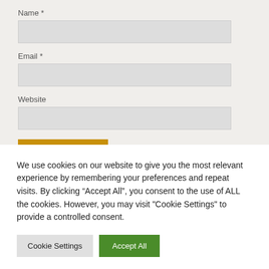Name *
Email *
Website
Post Comment
We use cookies on our website to give you the most relevant experience by remembering your preferences and repeat visits. By clicking “Accept All”, you consent to the use of ALL the cookies. However, you may visit "Cookie Settings" to provide a controlled consent.
Cookie Settings
Accept All